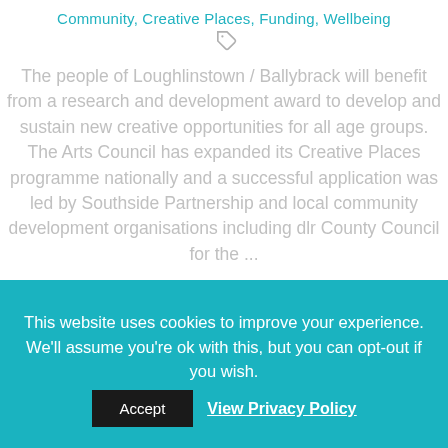Community, Creative Places, Funding, Wellbeing
The people of Loughlinstown / Ballybrack will benefit from a research and development award to develop and sustain new creative opportunities for all age groups. The Arts Council has expanded its Creative Places programme nationally and a successful application was led by Southside Partnership and local community development organisations including dlr County Council for the ...
Read More →
This website uses cookies to improve your experience. We'll assume you're ok with this, but you can opt-out if you wish.
Accept
View Privacy Policy